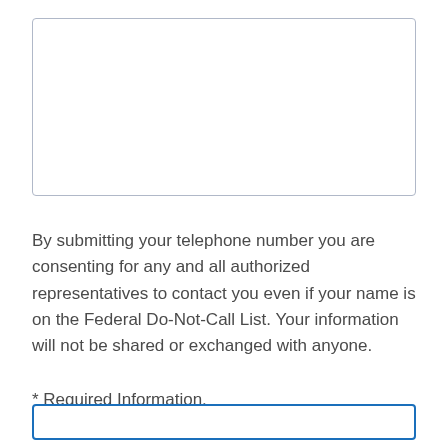[Figure (other): Empty text input box with light blue-gray border]
By submitting your telephone number you are consenting for any and all authorized representatives to contact you even if your name is on the Federal Do-Not-Call List. Your information will not be shared or exchanged with anyone.
* Required Information.
[Figure (other): Partially visible button outline with blue border at bottom of page]